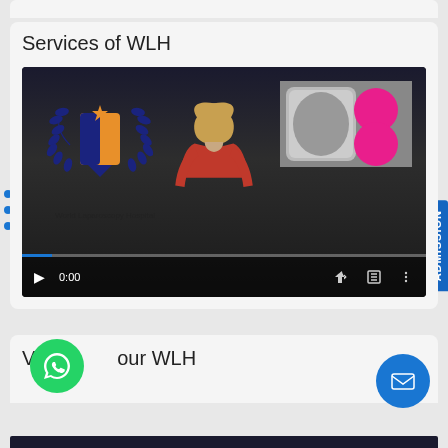Services of WLH
[Figure (screenshot): Video player showing World Laparoscopy Hospital promotional video. A woman in a red top is speaking to camera. The WLH logo with laurel wreath is visible on the left. A thumbnail of medical equipment is in the top right corner with pink circles overlaid. Video controls show 0:00 timestamp at the bottom.]
Vi our WLH
[Figure (logo): WhatsApp green circle icon bottom left]
[Figure (logo): Email blue circle icon bottom right]